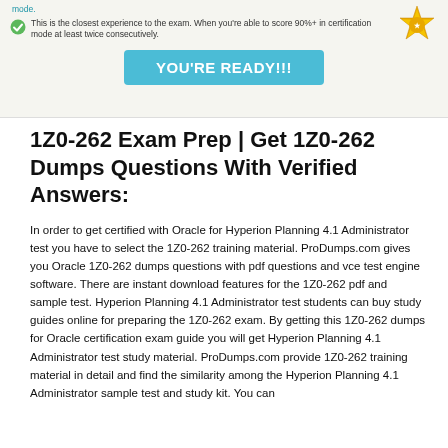mode.
[Figure (illustration): Gold star/seal badge in top right corner of banner]
This is the closest experience to the exam. When you're able to score 90%+ in certification mode at least twice consecutively.
YOU'RE READY!!!
1Z0-262 Exam Prep | Get 1Z0-262 Dumps Questions With Verified Answers:
In order to get certified with Oracle for Hyperion Planning 4.1 Administrator test you have to select the 1Z0-262 training material. ProDumps.com gives you Oracle 1Z0-262 dumps questions with pdf questions and vce test engine software. There are instant download features for the 1Z0-262 pdf and sample test. Hyperion Planning 4.1 Administrator test students can buy study guides online for preparing the 1Z0-262 exam. By getting this 1Z0-262 dumps for Oracle certification exam guide you will get Hyperion Planning 4.1 Administrator test study material. ProDumps.com provide 1Z0-262 training material in detail and find the similarity among the Hyperion Planning 4.1 Administrator sample test and study kit. You can